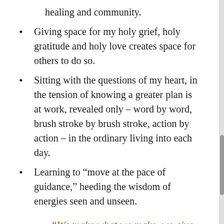healing and community.
Giving space for my holy grief, holy gratitude and holy love creates space for others to do so.
Sitting with the questions of my heart, in the tension of knowing a greater plan is at work, revealed only – word by word, brush stroke by brush stroke, action by action – in the ordinary living into each day.
Learning to “move at the pace of guidance,” heeding the wisdom of energies seen and unseen.
“We make what we make, we give a gift, not only through what we make or do, but in the way we feel as we do, and